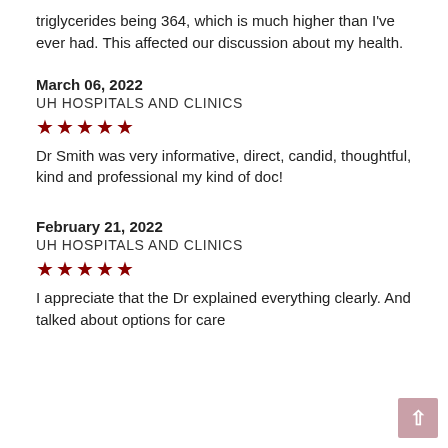triglycerides being 364, which is much higher than I've ever had. This affected our discussion about my health.
March 06, 2022
UH HOSPITALS AND CLINICS
[Figure (other): Five red star rating icons]
Dr Smith was very informative, direct, candid, thoughtful, kind and professional my kind of doc!
February 21, 2022
UH HOSPITALS AND CLINICS
[Figure (other): Five red star rating icons]
I appreciate that the Dr explained everything clearly. And talked about options for care